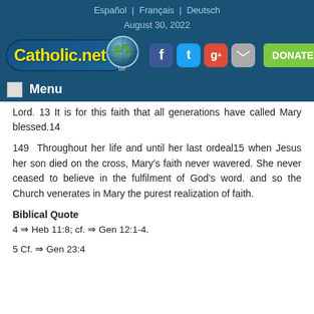Español | Français | Deutsch
August 30, 2022
[Figure (logo): Catholic.net logo with globe icon, social media icons (Facebook, Twitter, Google+, Mail), and DONATE NOW button]
Menu
Lord. 13 It is for this faith that all generations have called Mary blessed.14
149 Throughout her life and until her last ordeal15 when Jesus her son died on the cross, Mary's faith never wavered. She never ceased to believe in the fulfilment of God's word. and so the Church venerates in Mary the purest realization of faith.
Biblical Quote
4 ⇒ Heb 11:8; cf. ⇒ Gen 12:1-4.
5 Cf. ⇒ Gen 23:4